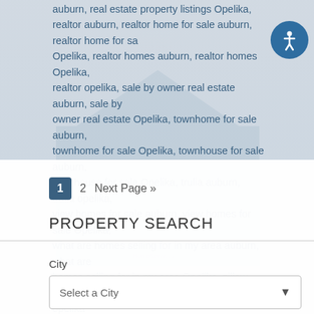auburn, real estate property listings Opelika, realtor auburn, realtor home for sale auburn, realtor home for sale Opelika, realtor homes auburn, realtor homes Opelika, realtor opelika, sale by owner real estate auburn, sale by owner real estate Opelika, townhome for sale auburn, townhome for sale Opelika, townhouse for sale auburn, townhouse for sale Opelika, trulia auburn, trulia opelika, view homes for sale auburn, view homes for sale Opelika, what are homes selling for in my area auburn, what are homes selling for in my area Opelika, zillow auburn, zillow opelika
[Figure (illustration): Faded background image of a house (Berkshire Hathaway real estate) overlaying the page]
1 (active page)
2
Next Page »
PROPERTY SEARCH
City
Select a City